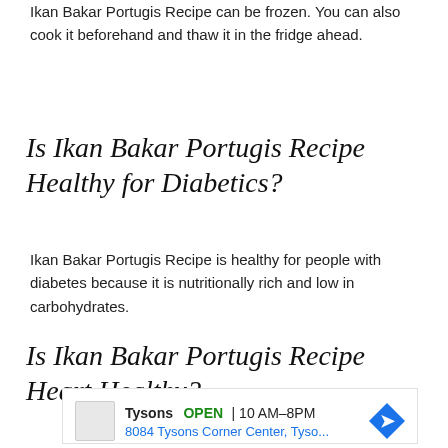Ikan Bakar Portugis Recipe can be frozen. You can also cook it beforehand and thaw it in the fridge ahead.
Is Ikan Bakar Portugis Recipe Healthy for Diabetics?
Ikan Bakar Portugis Recipe is healthy for people with diabetes because it is nutritionally rich and low in carbohydrates.
Is Ikan Bakar Portugis Recipe Heart Healthy?
[Figure (other): Advertisement for Tysons store showing OPEN status, hours 10AM-8PM, address 8084 Tysons Corner Center, Tyso..., with a navigation/directions icon.]